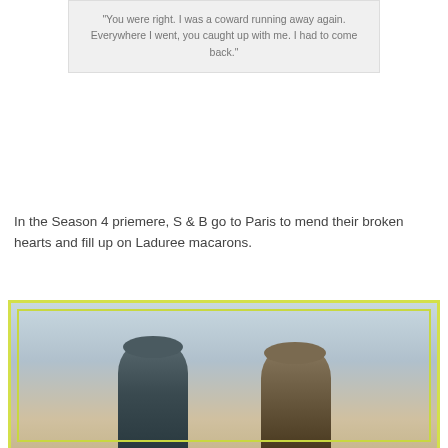[Figure (photo): Photo of a person in a green skirt and dark jacket loading items including a pink floral bag into or near a car.]
“You were right. I was a coward running away again. Everywhere I went, you caught up with me. I had to come back.”
In the Season 4 priemere, S & B go to Paris to mend their broken hearts and fill up on Laduree macarons.
[Figure (photo): Photo of two figures wearing hats standing together outdoors, framed with a yellow-green border.]